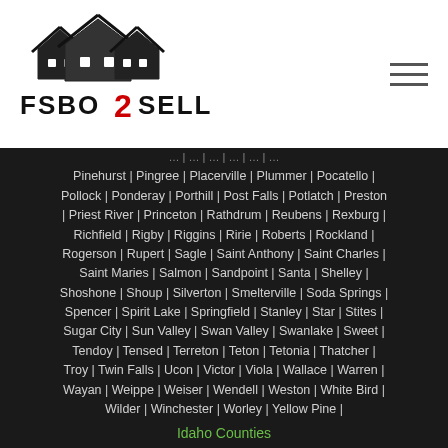[Figure (logo): FSBO2Sell logo with house silhouette and red number 2]
Pinehurst | Pingree | Placerville | Plummer | Pocatello | Pollock | Ponderay | Porthill | Post Falls | Potlatch | Preston | Priest River | Princeton | Rathdrum | Reubens | Rexburg | Richfield | Rigby | Riggins | Ririe | Roberts | Rockland | Rogerson | Rupert | Sagle | Saint Anthony | Saint Charles | Saint Maries | Salmon | Sandpoint | Santa | Shelley | Shoshone | Shoup | Silverton | Smelterville | Soda Springs | Spencer | Spirit Lake | Springfield | Stanley | Star | Stites | Sugar City | Sun Valley | Swan Valley | Swanlake | Sweet | Tendoy | Tensed | Terreton | Teton | Tetonia | Thatcher | Troy | Twin Falls | Ucon | Victor | Viola | Wallace | Warren | Wayan | Weippe | Weiser | Wendell | Weston | White Bird | Wilder | Winchester | Worley | Yellow Pine |
Idaho Counties
Copyright 2022 © FSBO2Sell. All Rights Reserved.